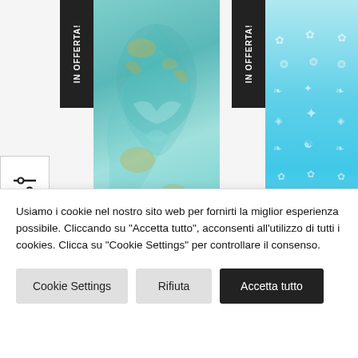[Figure (photo): Two product images side by side. Left: a teal/turquoise decorative fabric or art print with flowing figures and gold details, with a black vertical 'IN OFFERTA!' badge on the left side. Right: a light blue fabric/product covered in small white decorative symbols/icons, also with a black vertical 'IN OFFERTA!' badge on the left side. A filter icon (sliders) appears on the far left.]
Usiamo i cookie nel nostro sito web per fornirti la miglior esperienza possibile. Cliccando su "Accetta tutto", acconsenti all'utilizzo di tutti i cookies. Clicca su "Cookie Settings" per controllare il consenso.
Cookie Settings
Rifiuta
Accetta tutto